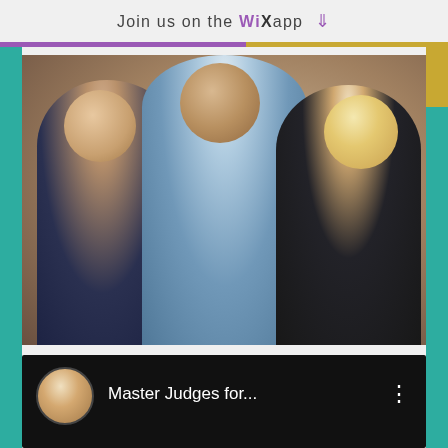Join us on the WiX app ⬇
[Figure (photo): A group photo of three people smiling together: a bald man with glasses on the left wearing a dark patterned shirt, a tall man in the center wearing a light blue striped shirt, and a woman on the right with blonde hair wearing a dark jacket with red underneath.]
Master Judges for...